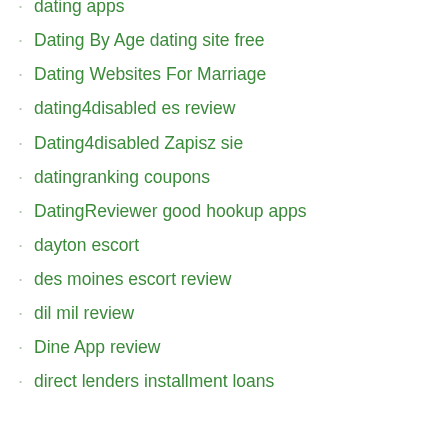dating apps
Dating By Age dating site free
Dating Websites For Marriage
dating4disabled es review
Dating4disabled Zapisz sie
datingranking coupons
DatingReviewer good hookup apps
dayton escort
des moines escort review
dil mil review
Dine App review
direct lenders installment loans